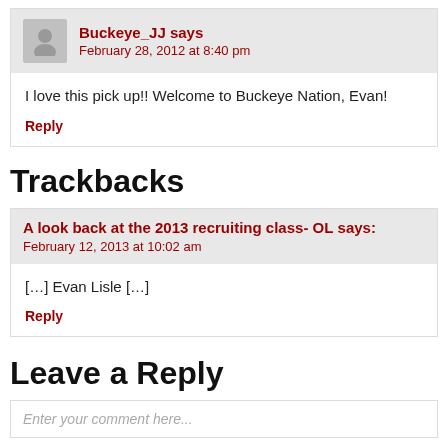Buckeye_JJ says February 28, 2012 at 8:40 pm
I love this pick up!! Welcome to Buckeye Nation, Evan!
Reply
Trackbacks
A look back at the 2013 recruiting class- OL says: February 12, 2013 at 10:02 am
[…] Evan Lisle […]
Reply
Leave a Reply
Enter your comment here...